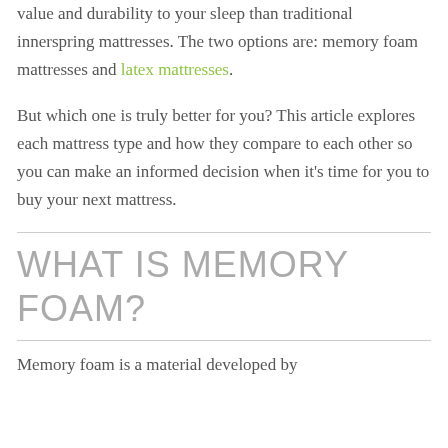value and durability to your sleep than traditional innerspring mattresses. The two options are: memory foam mattresses and latex mattresses.
But which one is truly better for you? This article explores each mattress type and how they compare to each other so you can make an informed decision when it's time for you to buy your next mattress.
WHAT IS MEMORY FOAM?
Memory foam is a material developed by